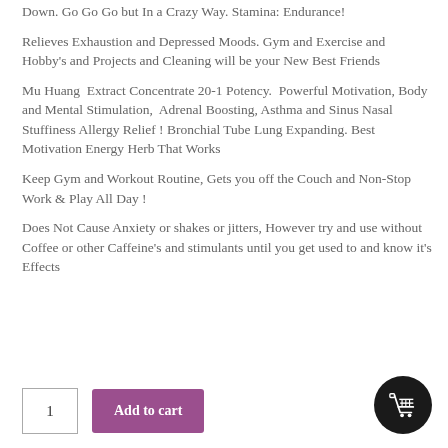Down. Go Go Go but In a Crazy Way. Stamina: Endurance!
Relieves Exhaustion and Depressed Moods. Gym and Exercise and Hobby’s and Projects and Cleaning will be your New Best Friends
Mu Huang  Extract Concentrate 20-1 Potency.  Powerful Motivation, Body and Mental Stimulation,  Adrenal Boosting, Asthma and Sinus Nasal Stuffiness Allergy Relief ! Bronchial Tube Lung Expanding. Best Motivation Energy Herb That Works
Keep Gym and Workout Routine, Gets you off the Couch and Non-Stop Work & Play All Day !
Does Not Cause Anxiety or shakes or jitters, However try and use without Coffee or other Caffeine’s and stimulants until you get used to and know it’s Effects